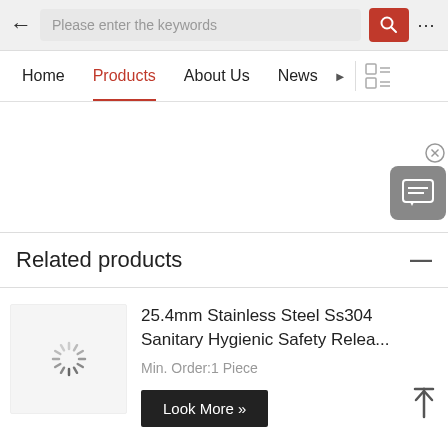Please enter the keywords
Home  Products  About Us  News
[Figure (screenshot): White empty content area with a chat support widget on the right side (gray speech bubble box with close X button)]
Related products
[Figure (photo): Product thumbnail loading spinner]
25.4mm Stainless Steel Ss304 Sanitary Hygienic Safety Relea...
Min. Order:1 Piece
Look More »